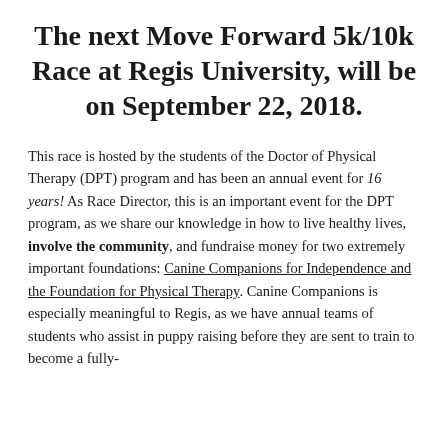The next Move Forward 5k/10k Race at Regis University, will be on September 22, 2018.
This race is hosted by the students of the Doctor of Physical Therapy (DPT) program and has been an annual event for 16 years! As Race Director, this is an important event for the DPT program, as we share our knowledge in how to live healthy lives, involve the community, and fundraise money for two extremely important foundations: Canine Companions for Independence and the Foundation for Physical Therapy. Canine Companions is especially meaningful to Regis, as we have annual teams of students who assist in puppy raising before they are sent to train to become a fully-